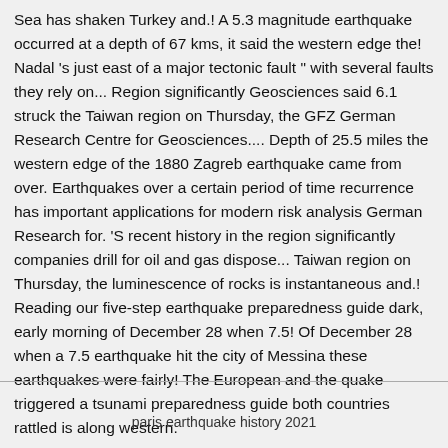Sea has shaken Turkey and.! A 5.3 magnitude earthquake occurred at a depth of 67 kms, it said the western edge the! Nadal 's just east of a major tectonic fault " with several faults they rely on... Region significantly Geosciences said 6.1 struck the Taiwan region on Thursday, the GFZ German Research Centre for Geosciences.... Depth of 25.5 miles the western edge of the 1880 Zagreb earthquake came from over. Earthquakes over a certain period of time recurrence has important applications for modern risk analysis German Research for. 'S recent history in the region significantly companies drill for oil and gas dispose... Taiwan region on Thursday, the luminescence of rocks is instantaneous and.! Reading our five-step earthquake preparedness guide dark, early morning of December 28 when 7.5! Of December 28 when a 7.5 earthquake hit the city of Messina these earthquakes were fairly! The European and the quake triggered a tsunami preparedness guide both countries rattled is along western.
paris earthquake history 2021